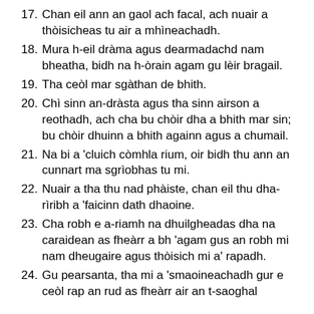17. Chan eil ann an gaol ach facal, ach nuair a thòisicheas tu air a mhìneachadh.
18. Mura h-eil dràma agus dearmadachd nam bheatha, bidh na h-òrain agam gu lèir bragail.
19. Tha ceòl mar sgàthan de bhith.
20. Chì sinn an-dràsta agus tha sinn airson a reothadh, ach cha bu chòir dha a bhith mar sin; bu chòir dhuinn a bhith againn agus a chumail.
21. Na bi a 'cluich còmhla rium, oir bidh thu ann an cunnart ma sgrìobhas tu mi.
22. Nuair a tha thu nad phàiste, chan eil thu dha-rìribh a 'faicinn dath dhaoine.
23. Cha robh e a-riamh na dhuilgheadas dha na caraidean as fheàrr a bh 'agam gus an robh mi nam dheugaire agus thòisich mi a' rapadh.
24. Gu pearsanta, tha mi a 'smaoineachadh gur e ceòl rap an rud as fheàrr air an t-saoghal.